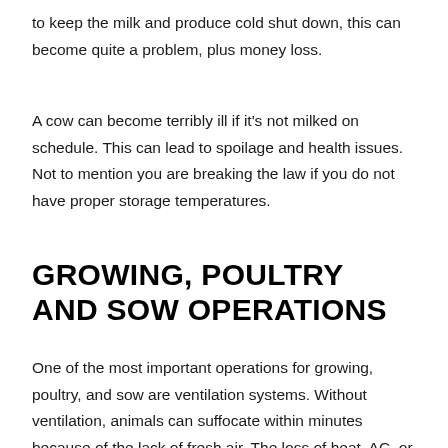to keep the milk and produce cold shut down, this can become quite a problem, plus money loss.
A cow can become terribly ill if it's not milked on schedule. This can lead to spoilage and health issues. Not to mention you are breaking the law if you do not have proper storage temperatures.
GROWING, POULTRY AND SOW OPERATIONS
One of the most important operations for growing, poultry, and sow are ventilation systems. Without ventilation, animals can suffocate within minutes because of the lack of fresh air. The loss of heat, AC, or fan systems can quickly